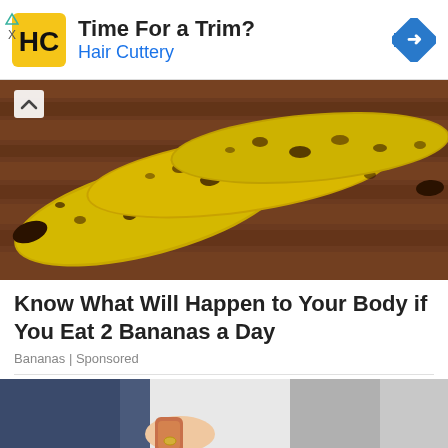[Figure (screenshot): Advertisement banner for Hair Cuttery with yellow/black logo square, title 'Time For a Trim?', brand name 'Hair Cuttery' in blue, and a blue diamond navigation arrow icon on the right. Small play and X icons on the left margin.]
[Figure (photo): Photo of three ripe/overripe bananas with brown spots on a dark wooden surface background. A small upward chevron arrow is visible on the left side.]
Know What Will Happen to Your Body if You Eat 2 Bananas a Day
Bananas | Sponsored
[Figure (photo): Photo showing a person's hands and knees, holding what appears to be a small bottle/container, standing on a scale, wearing jeans and grey clothing.]